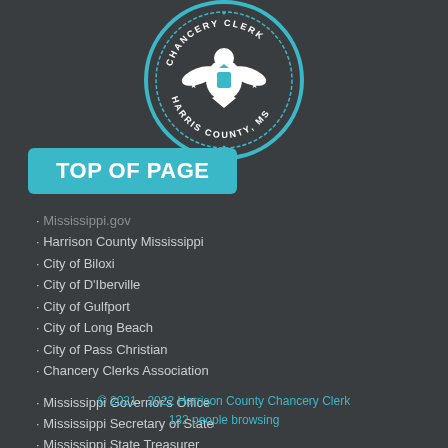[Figure (logo): Harrison County Chancery Clerk official seal — circular seal with eagle emblem, text reading CHANCERY CLERK, HARRIS COUNTY, MS on teal/white background]
TOP OF PAGE
Mississippi.gov
Harrison County Mississippi
City of Biloxi
City of D'Iberville
City of Gulfport
City of Long Beach
City of Pass Christian
Chancery Clerks Association
Mississippi Governor's Office
Mississippi Secretary of State
Mississippi State Treasurer
Mississippi Department of Revenue
MDAH
MDAH - Local Government
Travel.State.Gov
Travel.State.Gov - Passports
© 2021 - 2022 Harrison County Chancery Clerk
132 people browsing